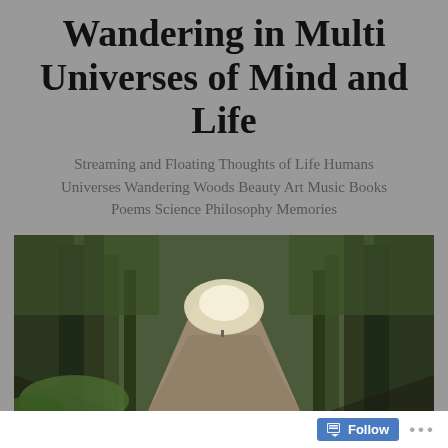Wandering in Multi Universes of Mind and Life
Streaming and Floating Thoughts of Life Humans Universes Wandering Woods Beauty Art Music Books Poems Science Philosophy Memories
[Figure (photo): A forest path stretching into the distance, flanked by tall trees with green foliage, bright light at the end of the path.]
[Figure (other): Navigation menu button with three horizontal lines (hamburger icon)]
Category: Classical
Follow